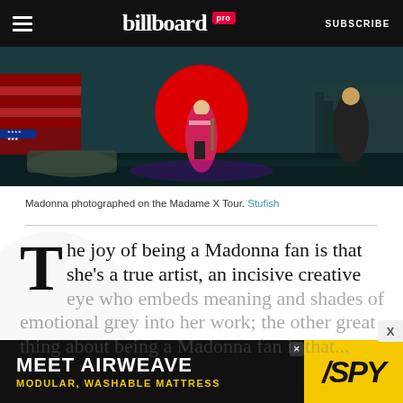billboard pro  SUBSCRIBE
[Figure (photo): Concert stage photo of Madonna on the Madame X Tour, with an American flag on the left, a large red circle backdrop in the center, and musicians on stage.]
Madonna photographed on the Madame X Tour. Stufish
The joy of being a Madonna fan is that she's a true artist, an incisive creative eye who embeds meaning and shades of emotional grey into her work; the other great thing about being a Madonna fan is that...